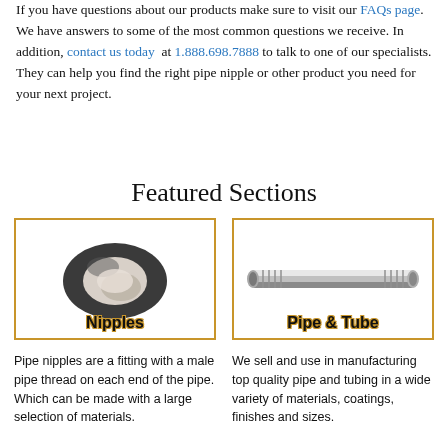If you have questions about our products make sure to visit our FAQs page. We have answers to some of the most common questions we receive. In addition, contact us today at 1.888.698.7888 to talk to one of our specialists. They can help you find the right pipe nipple or other product you need for your next project.
Featured Sections
[Figure (photo): Dark metal pipe nipple ring fitting, labeled 'Nipples' in bold text with gold outline, inside a gold-bordered box]
[Figure (photo): Silver threaded pipe/tube with male threads on each end, labeled 'Pipe & Tube' in bold text with gold outline, inside a gold-bordered box]
Pipe nipples are a fitting with a male pipe thread on each end of the pipe. Which can be made with a large selection of materials.
We sell and use in manufacturing top quality pipe and tubing in a wide variety of materials, coatings, finishes and sizes.